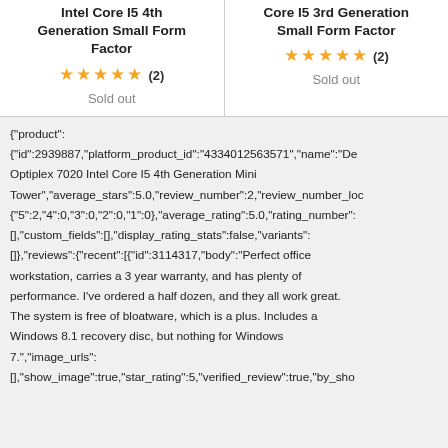Intel Core I5 4th Generation Small Form Factor ★★★★★ (2) Sold out | Core I5 3rd Generation Small Form Factor ★★★★★ (2) Sold out
{"product": {"id":2939887,"platform_product_id":"4334012563571","name":"De Optiplex 7020 Intel Core I5 4th Generation Mini Tower","average_stars":5.0,"review_number":2,"review_number_loc {"5":2,"4":0,"3":0,"2":0,"1":0},"average_rating":5.0,"rating_number": [],"custom_fields":[],"display_rating_stats":false,"variants": []},"reviews":{"recent":[{"id":3114317,"body":"Perfect office workstation, carries a 3 year warranty, and has plenty of performance. I've ordered a half dozen, and they all work great. The system is free of bloatware, which is a plus. Includes a Windows 8.1 recovery disc, but nothing for Windows 7.","image_urls": [],"show_image":true,"star_rating":5,"verified_review":true,"by_sho